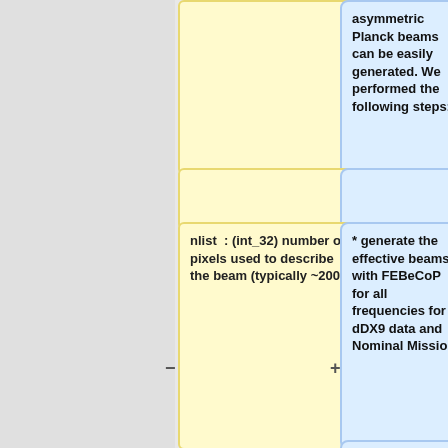[Figure (flowchart): A two-column flowchart with yellow boxes on the left and blue boxes on the right, connected by + and - symbols. Yellow box content: 'nlist : (int_32) number of pixels used to describe the beam (typically ~200)'. Blue boxes content from top: 'asymmetric Planck beams can be easily generated. We performed the following steps:', then an empty row, then '* generate the effective beams with FEBeCoP for all frequencies for dDX9 data and Nominal Mission', then '* generate 100 realizations of maps from a fiducial CMB power spectrum'.]